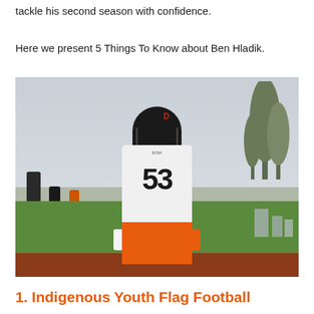tackle his second season with confidence.
Here we present 5 Things To Know about Ben Hladik.
[Figure (photo): A football player wearing number 53, white jersey and orange pants, black helmet with facemask, standing on a football field during practice. Other players visible in the background.]
1. Indigenous Youth Flag Football